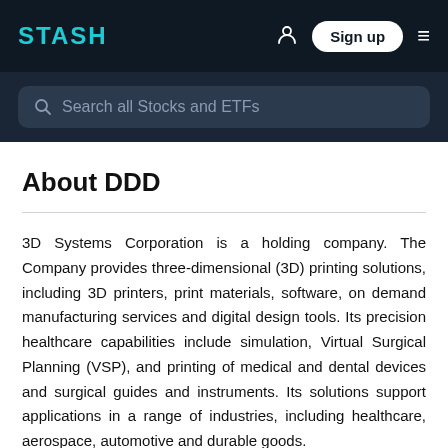STASH
Search all Stocks and ETFs
About DDD
3D Systems Corporation is a holding company. The Company provides three-dimensional (3D) printing solutions, including 3D printers, print materials, software, on demand manufacturing services and digital design tools. Its precision healthcare capabilities include simulation, Virtual Surgical Planning (VSP), and printing of medical and dental devices and surgical guides and instruments. Its solutions support applications in a range of industries, including healthcare, aerospace, automotive and durable goods.